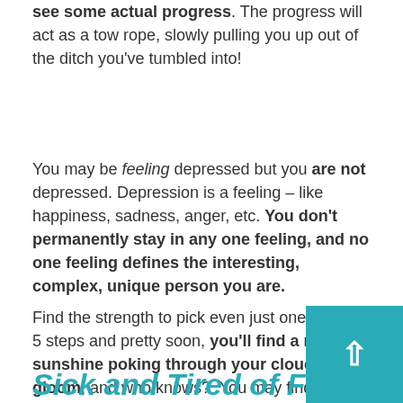see some actual progress. The progress will act as a tow rope, slowly pulling you up out of the ditch you've tumbled into!
You may be feeling depressed but you are not depressed. Depression is a feeling – like happiness, sadness, anger, etc. You don't permanently stay in any one feeling, and no one feeling defines the interesting, complex, unique person you are.
Find the strength to pick even just one of these 5 steps and pretty soon, you'll find a ray of sunshine poking through your cloud of gloom, and who knows?  You may find blue skies ahead!
Sick and Tired of Feeling